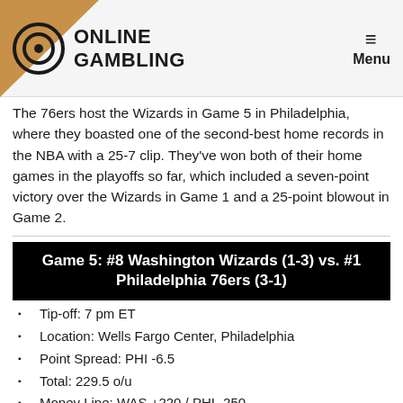ONLINE GAMBLING | Menu
The 76ers host the Wizards in Game 5 in Philadelphia, where they boasted one of the second-best home records in the NBA with a 25-7 clip. They've won both of their home games in the playoffs so far, which included a seven-point victory over the Wizards in Game 1 and a 25-point blowout in Game 2.
Game 5: #8 Washington Wizards (1-3) vs. #1 Philadelphia 76ers (3-1)
Tip-off: 7 pm ET
Location: Wells Fargo Center, Philadelphia
Point Spread: PHI -6.5
Total: 229.5 o/u
Money Line: WAS +220 / PHI -250
Series Line: WAS +1300 / PHI -5000
When the series shifted to Washington for Game 3, the 76ers